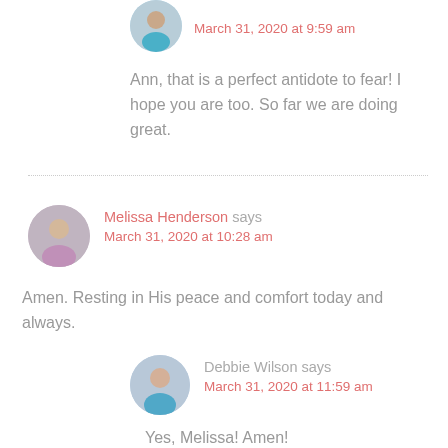March 31, 2020 at 9:59 am
Ann, that is a perfect antidote to fear! I hope you are too. So far we are doing great.
Melissa Henderson says
March 31, 2020 at 10:28 am
Amen. Resting in His peace and comfort today and always.
Debbie Wilson says
March 31, 2020 at 11:59 am
Yes, Melissa! Amen!